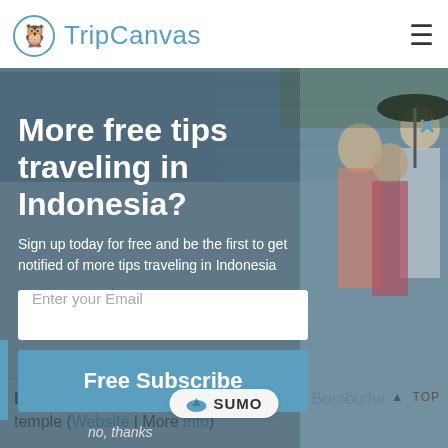TripCanvas
[Figure (photo): Partial view of a stone temple or pathway, appears to be Borobudur Temple]
More free tips traveling in Indonesia?
Sign up today for free and be the first to get notified of more tips traveling in Indonesia
[Figure (photo): Three young women posing together outdoors, one holding a black umbrella, in a travel/tourist setting]
Enter your Email
Free Subscribe
no, thanks
[Figure (logo): SUMO badge/logo at bottom of modal]
▲  TOP
Borobudur Temple: Catch the sunrise at Borobudur temple (Website | More info)